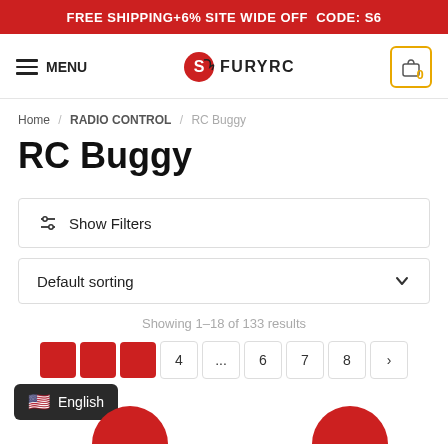FREE SHIPPING+6% SITE WIDE OFF  CODE: S6
[Figure (logo): FuryRC logo with dragon icon and text FURYRC]
Home / RADIO CONTROL / RC Buggy
RC Buggy
Show Filters
Default sorting
Showing 1–18 of 133 results
4 ... 6 7 8 >
English